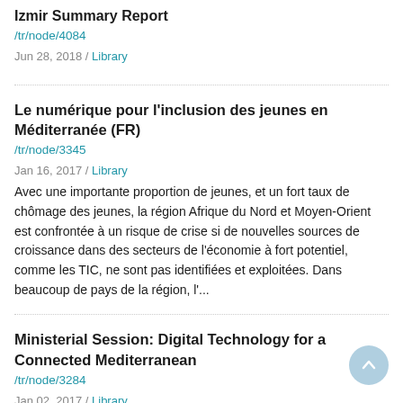Izmir Summary Report
/tr/node/4084
Jun 28, 2018 / Library
Le numérique pour l'inclusion des jeunes en Méditerranée (FR)
/tr/node/3345
Jan 16, 2017 / Library
Avec une importante proportion de jeunes, et un fort taux de chômage des jeunes, la région Afrique du Nord et Moyen-Orient est confrontée à un risque de crise si de nouvelles sources de croissance dans des secteurs de l'économie à fort potentiel, comme les TIC, ne sont pas identifiées et exploitées. Dans beaucoup de pays de la région, l'...
Ministerial Session: Digital Technology for a Connected Mediterranean
/tr/node/3284
Jan 02, 2017 / Library